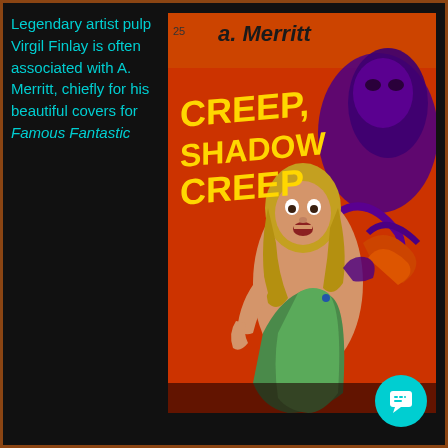Legendary artist pulp Virgil Finlay is often associated with A. Merritt, chiefly for his beautiful covers for Famous Fantastic
[Figure (illustration): Pulp fiction book cover for 'Creep, Shadow, Creep' by A. Merritt. Shows a frightened blonde woman in a green dress being grabbed by a shadowy monster creature. Title text in large yellow letters, author name in dark text at top. Orange/red background.]